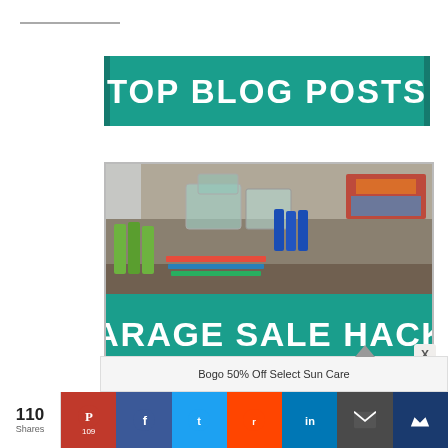[Figure (infographic): TOP BLOG POSTS teal banner with white bold uppercase text]
[Figure (photo): Garage sale table with various items including green tubes, clear containers, blue bottles, and colorful miscellaneous items. Overlaid with teal banner reading GARAGE SALE HACKS in white bold uppercase text.]
Bogo 50% Off Select Sun Care
110 Shares
109